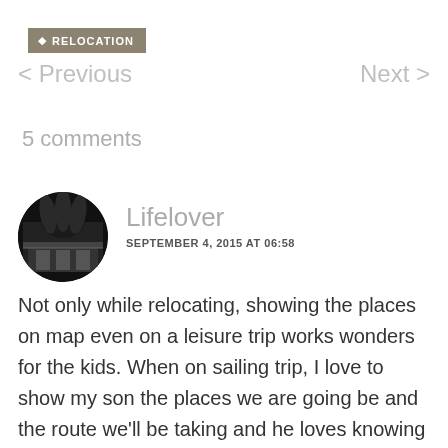RELOCATION
< Previous    Next >
5 comments
Lifelover
SEPTEMBER 4, 2015 AT 06:58
[Figure (photo): Circular black and white avatar photo showing palm trees and a building/structure]
Not only while relocating, showing the places on map even on a leisure trip works wonders for the kids. When on sailing trip, I love to show my son the places we are going be and the route we'll be taking and he loves knowing and